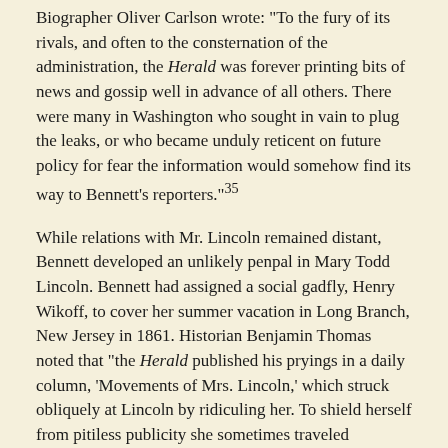Biographer Oliver Carlson wrote: "To the fury of its rivals, and often to the consternation of the administration, the Herald was forever printing bits of news and gossip well in advance of all others. There were many in Washington who sought in vain to plug the leaks, or who became unduly reticent on future policy for fear the information would somehow find its way to Bennett's reporters."35
While relations with Mr. Lincoln remained distant, Bennett developed an unlikely penpal in Mary Todd Lincoln. Bennett had assigned a social gadfly, Henry Wikoff, to cover her summer vacation in Long Branch, New Jersey in 1861. Historian Benjamin Thomas noted that "the Herald published his pryings in a daily column, 'Movements of Mrs. Lincoln,' which struck obliquely at Lincoln by ridiculing her. To shield herself from pitiless publicity she sometimes traveled incognito as 'Mrs. Clark."36 Mrs. Lincoln was apparently not offended by the coverage because she wrote Bennett on October 25:
It is with feelings of more than ordinary gratitude, that I venture to address you, a note, expressive of my thanks for the kind courtesy and consideration...